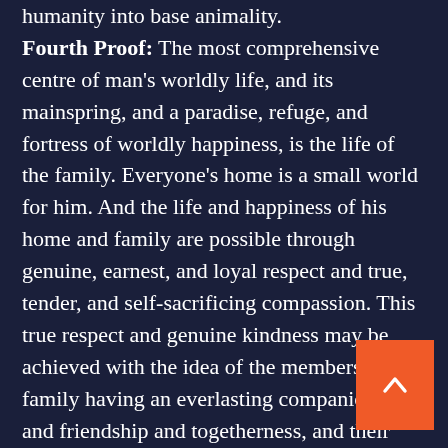humanity into base animality. Fourth Proof: The most comprehensive centre of man's worldly life, and its mainspring, and a paradise, refuge, and fortress of worldly happiness, is the life of the family. Everyone's home is a small world for him. And the life and happiness of his home and family are possible through genuine, earnest, and loyal respect and true, tender, and self-sacrificing compassion. This true respect and genuine kindness may be achieved with the idea of the members of the family having an everlasting companionship and friendship and togetherness, and their parental, filial, brotherly, and friendly relations continuing for all eternity in a limitless